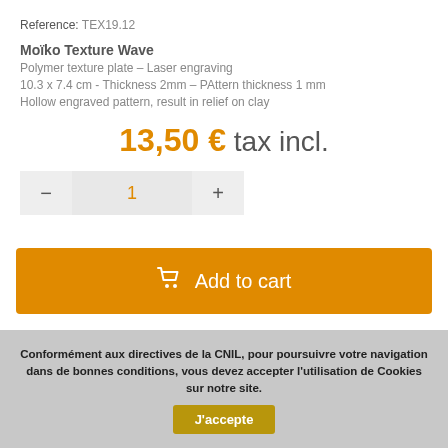Reference: TEX19.12
Moïko Texture Wave
Polymer texture plate – Laser engraving
10.3 x 7.4 cm - Thickness 2mm - PAttern thickness 1 mm
Hollow engraved pattern, result in relief on clay
13,50 € tax incl.
- 1 +
Add to cart
Conformément aux directives de la CNIL, pour poursuivre votre navigation dans de bonnes conditions, vous devez accepter l'utilisation de Cookies sur notre site.
J'accepte